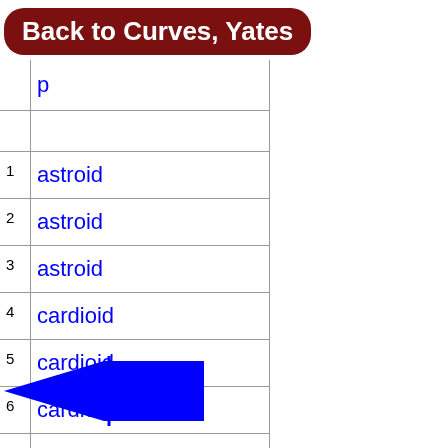Back to Curves, Yates
| # | Name |
| --- | --- |
| p |  |
|  |  |
| 1 | astroid |
| 2 | astroid |
| 3 | astroid |
| 4 | cardioid |
| 5 | cardioid |
| 6 | cardioid |
| 7 | cardioid |
| 8 | cassi |
| 9 | cassi |
[Figure (illustration): Blue left-pointing navigation diamond/arrow with vertical dividing line]